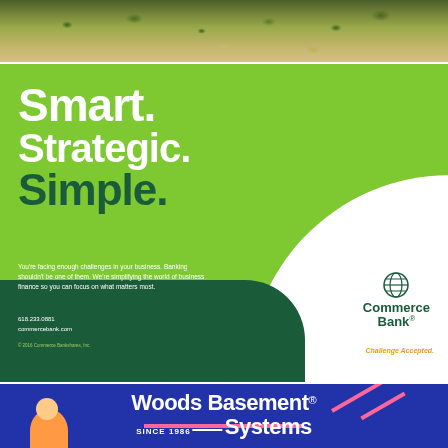[Figure (photo): Aerial photograph of a landscape with trees and ground from above, showing green foliage and bare earth]
[Figure (illustration): Commerce Bank advertisement with green background. Large white bold text reads 'Smart. Strategic.' and dark green bold text reads 'Simple.' Below is body copy: 'You're facing enough challenges in your business. Banking shouldn't be one of them. We're simplifying the world of business finance so you can focus on what matters most.' Contact info: 618.233.0881 commercebank.com. Commerce Bank logo with globe icon and tagline 'Challenge Accepted.' A dark green curved swoosh at bottom left and white curved area at bottom right.]
[Figure (illustration): Woods Basement Systems advertisement with dark blue background. White bold text 'Woods Basement Systems' with 'SINCE 1986' subtitle. Pink horizontal bar and diagonal pink stripes visible. Partial view of a person and logo at bottom.]